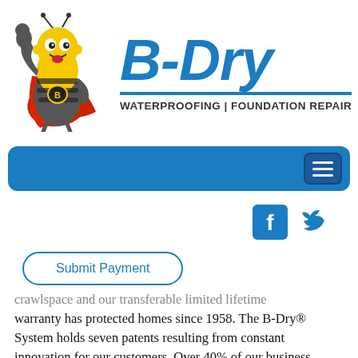[Figure (logo): B-Dry Waterproofing and Foundation Repair logo with superhero bee mascot character in cape flexing, alongside blue italic B-Dry text, underline, and tagline WATERPROOFING | FOUNDATION REPAIR]
[Figure (screenshot): Blue navigation bar with hamburger menu button on the right]
[Figure (screenshot): Social media icons row: Facebook and Twitter icons in blue]
[Figure (screenshot): Submit Payment button with rounded border outline]
crawlspace and our transferable limited lifetime warranty has protected homes since 1958. The B-Dry® System holds seven patents resulting from constant innovation for our customers. Over 40% of our business